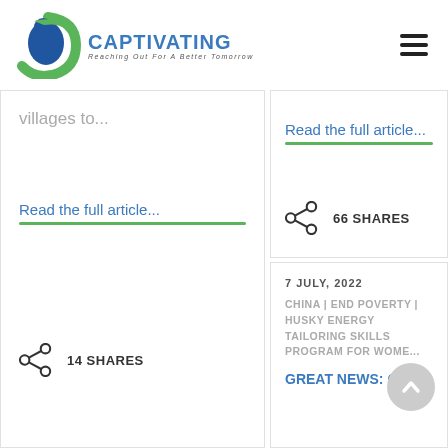[Figure (logo): Captivating logo with blue and green circular figure and text 'CAPTIVATING - Reaching Out For A Better Tomorrow']
villages to...
Read the full article...
14 SHARES
Read the full article...
66 SHARES
7 JULY, 2022
CHINA | END POVERTY | HUSKY ENERGY TAILORING SKILLS PROGRAM FOR WOME...
GREAT NEWS: OUR